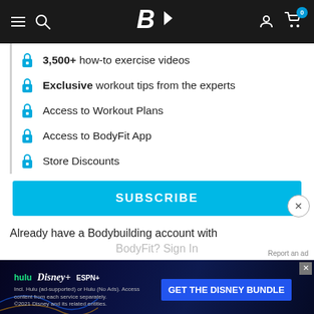Bodybuilding.com navigation bar with logo, search, account, and cart icons
3,500+ how-to exercise videos
Exclusive workout tips from the experts
Access to Workout Plans
Access to BodyFit App
Store Discounts
SUBSCRIBE
Already have a Bodybuilding account with BodyFit? Sign In
[Figure (screenshot): Disney Bundle advertisement banner: hulu Disney+ ESPN+ GET THE DISNEY BUNDLE. Incl. Hulu (ad-supported) or Hulu (No Ads). Access content from each service separately. ©2021 Disney and its related entities.]